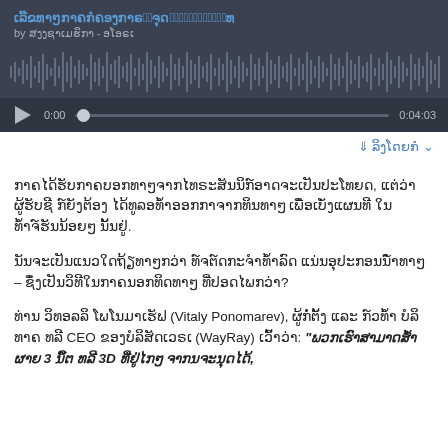[Figure (screenshot): Audio player widget with dark background showing Lao song title, artist name 'by ສງງຊາເມຮິກາ - ອໂອຣເ', waveform visualization, play button, time 0:00 and 0:04:03, and progress bar]
↓ ລິງໂດຍກໍ ∨
ກາຄໄດ້ຮັບກາຄບອກທາໆຈາກໄທຣະສັນນິກ໌ອາດຈະເປັນປະໂທຍດ, ແຕ່ວ່າ ຜູ້ຮັບຊི ກ໌ຍັງຕ້ອງ ໄດ້ທູລອທ້ຳອອກກາຈາກທິນທາໆ ເພື່ອເບັ່ງແຜນທີ ໃນທ້ຳຈ໌ຮັນນ້ອຍໆ ນັ້ນຢູ່.
ນັນຈະເປັນແນວໃດຖ້ຽທາໆກວ່າ ທ໌ຈຕ໌ດກະຈຳທ້ຳລົດ ແນ່ນອຸປະກອນນ໌ຳທາໆ – ຊຶ່ງເປັນວິທີໃນກາຄນອກທິດທາໆ ທີ່ປອດໄພກວ່າ?
ທ່ານ ວິທອລລິ ໂພໂນມາເຮັຟ (Vitaly Ponomarev), ຜູ້ກໍ່ຕັ້ງ ແລະ ກ໌ວທ້ຳ ບໍລິທາຄ ທລີ CEO ຂອງບໍລິສັດເວຣເ (WayRay) ເວົ້າວ່າ: "ພວກເຮົາສາມາດສ້ຳຜາຍ 3 ນິ໌ຕ ທລີ 3D ທີ່ຢູ່ໄກໆ ຈາກນຈະນຸດໄດ້,